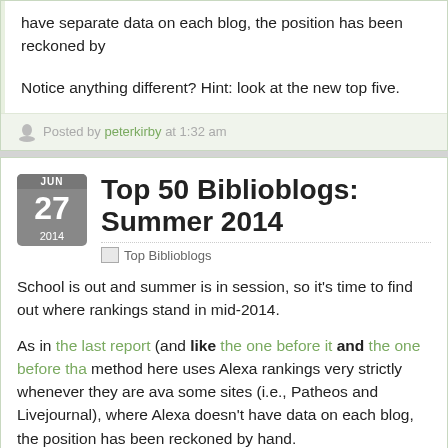have separate data on each blog, the position has been reckoned by
Notice anything different? Hint: look at the new top five.
Posted by peterkirby at 1:32 am
Top 50 Biblioblogs: Summer 2014
Top Biblioblogs
School is out and summer is in session, so it's time to find out where rankings stand in mid-2014.
As in the last report (and like the one before it and the one before that method here uses Alexa rankings very strictly whenever they are ava some sites (i.e., Patheos and Livejournal), where Alexa doesn't have data on each blog, the position has been reckoned by hand.